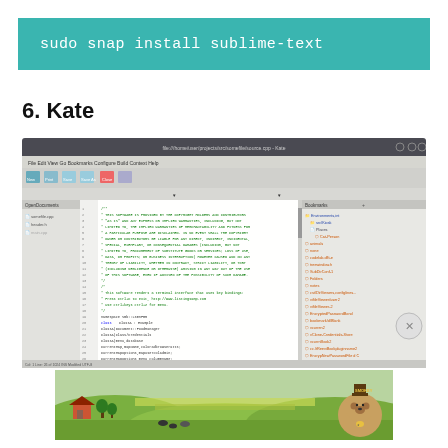[Figure (screenshot): Teal/cyan banner showing terminal command: sudo snap install sublime-text in white monospace text on teal background]
6. Kate
[Figure (screenshot): Kate text editor screenshot showing code editor with file browser panels on left and right, displaying C++ source code with syntax highlighting]
[Figure (illustration): Smokey Bear advertisement banner showing pastoral green farm landscape with Smokey Bear character in the bottom right corner]